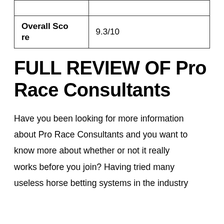|  |  |
| Overall Score | 9.3/10 |
FULL REVIEW OF Pro Race Consultants
Have you been looking for more information about Pro Race Consultants and you want to know more about whether or not it really works before you join? Having tried many useless horse betting systems in the industry